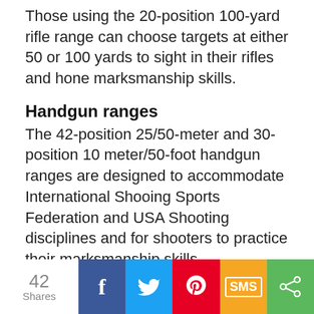Those using the 20-position 100-yard rifle range can choose targets at either 50 or 100 yards to sight in their rifles and hone marksmanship skills.
Handgun ranges
The 42-position 25/50-meter and 30-position 10 meter/50-foot handgun ranges are designed to accommodate International Shooing Sports Federation and USA Shooting disciplines and for shooters to practice their marksmanship skills.
Shotgun Menu
[Figure (infographic): Social share bar with 42 Shares count, followed by Facebook (blue), Twitter (light blue), Pinterest (red), SMS (yellow/orange), and generic share (green) buttons with icons]